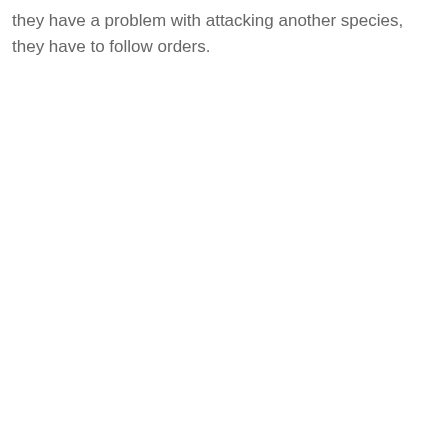they have a problem with attacking another species, they have to follow orders.